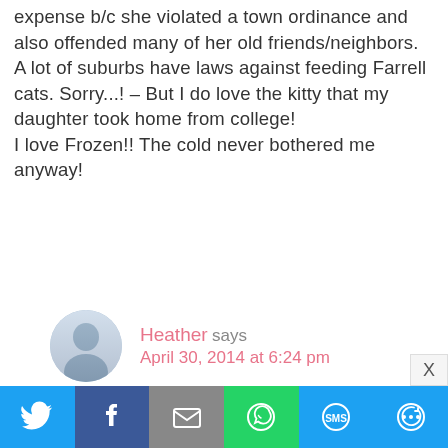expense b/c she violated a town ordinance and also offended many of her old friends/neighbors. A lot of suburbs have laws against feeding Farrell cats. Sorry...! – But I do love the kitty that my daughter took home from college!
I love Frozen!! The cold never bothered me anyway!
Heather says
April 30, 2014 at 6:24 pm
Thing is we aren't sure if it's a stray. It knows what a food bowl is, came right up to us, isn't scared of our dogs etc. we are sending an email to the HOA to see if it belongs to anyone. I live in a wooded/secluded neighborhood on a national
[Figure (other): Social share bar with Twitter, Facebook, Email, WhatsApp, SMS, and More buttons]